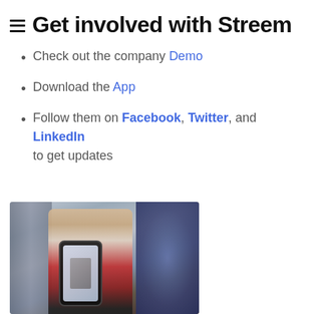≡ Get involved with Streem
Check out the company Demo
Download the App
Follow them on Facebook, Twitter, and LinkedIn to get updates
[Figure (photo): A retail store employee with blonde hair wearing a red vest, holding up a smartphone showing an app on its screen, standing in a store with shelves and decorative tiles in the background.]